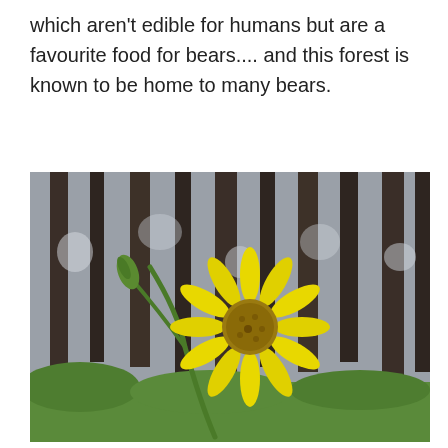which aren't edible for humans but are a favourite food for bears.... and this forest is known to be home to many bears.
[Figure (photo): Close-up photograph of a yellow daisy-like flower (possibly arnica or sunflower family) with a green bud on a stem, set against a blurred background of dark conifer tree trunks and green forest undergrowth.]